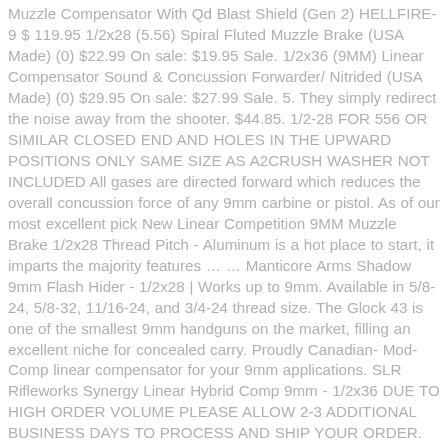Muzzle Compensator With Qd Blast Shield (Gen 2) HELLFIRE-9 $ 119.95 1/2x28 (5.56) Spiral Fluted Muzzle Brake (USA Made) (0) $22.99 On sale: $19.95 Sale. 1/2x36 (9MM) Linear Compensator Sound & Concussion Forwarder/ Nitrided (USA Made) (0) $29.95 On sale: $27.99 Sale. 5. They simply redirect the noise away from the shooter. $44.85. 1/2-28 FOR 556 OR SIMILAR CLOSED END AND HOLES IN THE UPWARD POSITIONS ONLY SAME SIZE AS A2CRUSH WASHER NOT INCLUDED All gases are directed forward which reduces the overall concussion force of any 9mm carbine or pistol. As of our most excellent pick New Linear Competition 9MM Muzzle Brake 1/2x28 Thread Pitch - Aluminum is a hot place to start, it imparts the majority features … … Manticore Arms Shadow 9mm Flash Hider - 1/2x28 | Works up to 9mm. Available in 5/8-24, 5/8-32, 11/16-24, and 3/4-24 thread size. The Glock 43 is one of the smallest 9mm handguns on the market, filling an excellent niche for concealed carry. Proudly Canadian- Mod-Comp linear compensator for your 9mm applications. SLR Rifleworks Synergy Linear Hybrid Comp 9mm - 1/2x36 DUE TO HIGH ORDER VOLUME PLEASE ALLOW 2-3 ADDITIONAL BUSINESS DAYS TO PROCESS AND SHIP YOUR ORDER. Out of stock. All thread sizes available in 45 caliber for 450 Bushmaster, 458 SOCOM, 45-70 etc. $34.95 $29.95 Sale. Simple ...